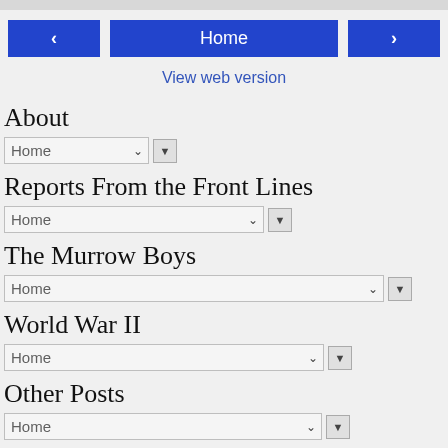< Home >
View web version
About
Home [dropdown] ▼
Reports From the Front Lines
Home [dropdown] ▼
The Murrow Boys
Home [dropdown] ▼
World War II
Home [dropdown] ▼
Other Posts
Home [dropdown] ▼